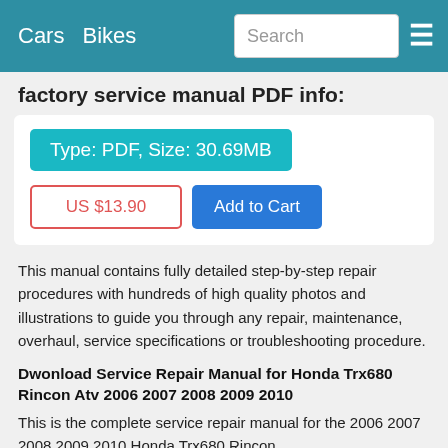Cars   Bikes   Search   ☰
factory service manual PDF info:
Type: PDF, Size: 30.69MB
US $13.90   Add to Cart
This manual contains fully detailed step-by-step repair procedures with hundreds of high quality photos and illustrations to guide you through any repair, maintenance, overhaul, service specifications or troubleshooting procedure.
Dwonload Service Repair Manual for Honda Trx680 Rincon Atv 2006 2007 2008 2009 2010
This is the complete service repair manual for the 2006 2007 2008 2009 2010 Honda Trx680 Rincon